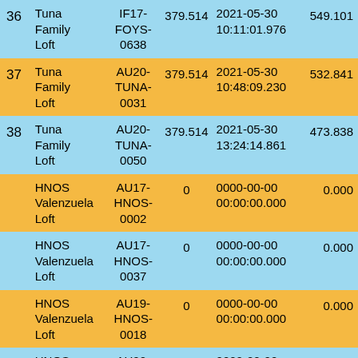| # | Name | Code | Value | Timestamp | Result |
| --- | --- | --- | --- | --- | --- |
| 36 | Tuna Family Loft | IF17-FOYS-0638 | 379.514 | 2021-05-30 10:11:01.976 | 549.101 |
| 37 | Tuna Family Loft | AU20-TUNA-0031 | 379.514 | 2021-05-30 10:48:09.230 | 532.841 |
| 38 | Tuna Family Loft | AU20-TUNA-0050 | 379.514 | 2021-05-30 13:24:14.861 | 473.838 |
|  | HNOS Valenzuela Loft | AU17-HNOS-0002 | 0 | 0000-00-00 00:00:00.000 | 0.000 |
|  | HNOS Valenzuela Loft | AU17-HNOS-0037 | 0 | 0000-00-00 00:00:00.000 | 0.000 |
|  | HNOS Valenzuela Loft | AU19-HNOS-0018 | 0 | 0000-00-00 00:00:00.000 | 0.000 |
|  | HNOS Valenzuela | AU20-EH- | 0 | 0000-00-00 00:00:00.000 | 0.000 |